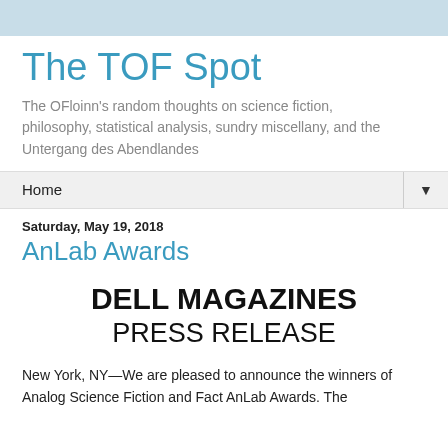The TOF Spot
The OFloinn's random thoughts on science fiction, philosophy, statistical analysis, sundry miscellany, and the Untergang des Abendlandes
Home
Saturday, May 19, 2018
AnLab Awards
DELL MAGAZINES
PRESS RELEASE
New York, NY—We are pleased to announce the winners of Analog Science Fiction and Fact AnLab Awards. The